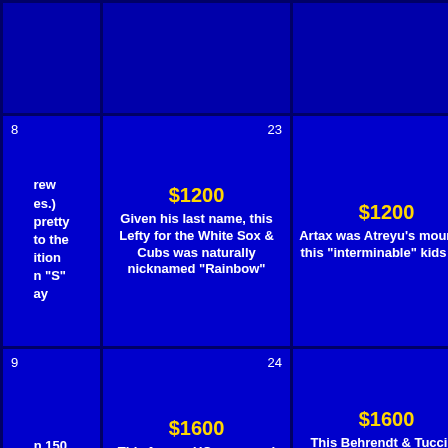| 8 [partial clue crew es.) pretty to the ition n S ay] | $1200 / 23 / Given his last name, this Lefty for the White Sox & Cubs was naturally nicknamed "Rainbow" | $1200 / 4 / Artax was Atreyu's mount in this "interminable" kids tale | $12[cut] / Reportedly, t... cocktail was banquet gi... British P.M.'s Jer... |
| 9 [partial: n 150 have name ek for] | $1600 / 24 / This former UConn guard got a change of scenery in 2007 & won a championship ring with the Celtics | $1600 / 5 / This Behrendt & Tuccillo book, now a movie, is subtitled "The no-excuses truth to understanding guys" | $16[cut] / She was t... Catherine of A... VIII's fi... |
| 10 | $2000 / 25 | $2000 / 6 | $20[cut] |